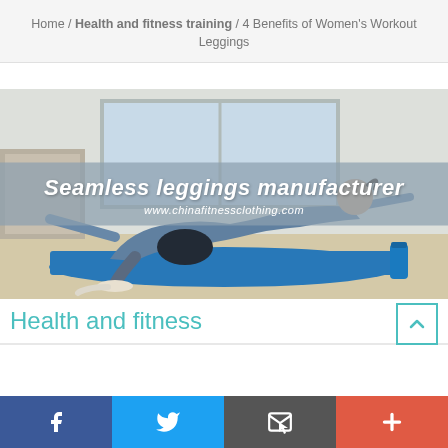Home / Health and fitness training / 4 Benefits of Women's Workout Leggings
[Figure (photo): Woman doing yoga/pilates exercise on a blue mat in a studio room. Overlay banner reads 'Seamless leggings manufacturer' and 'www.chinafitnessclothing.com']
Health and fitness
Facebook | Twitter | Email | Plus social share bar